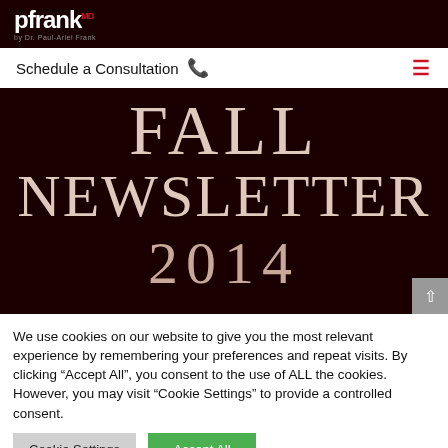pfrank MD — by Dr. Paul-Ariel Frank
Schedule a Consultation
FALL NEWSLETTER 2014
We use cookies on our website to give you the most relevant experience by remembering your preferences and repeat visits. By clicking "Accept All", you consent to the use of ALL the cookies. However, you may visit "Cookie Settings" to provide a controlled consent.